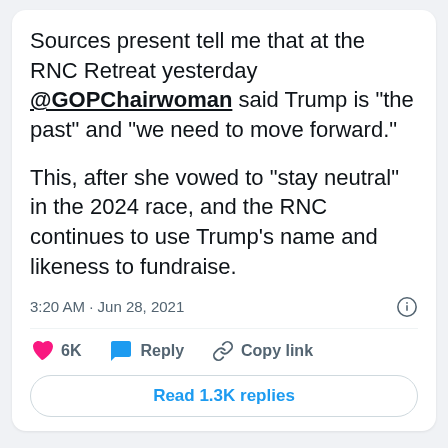Sources present tell me that at the RNC Retreat yesterday @GOPChairwoman said Trump is “the past” and “we need to move forward.”
This, after she vowed to “stay neutral” in the 2024 race, and the RNC continues to use Trump’s name and likeness to fundraise.
3:20 AM · Jun 28, 2021
6K  Reply  Copy link
Read 1.3K replies
INTERESTING FOR YOU
[Figure (photo): Two side-by-side photos — left shows a person outdoors with palm trees, right shows a street scene with a building.]